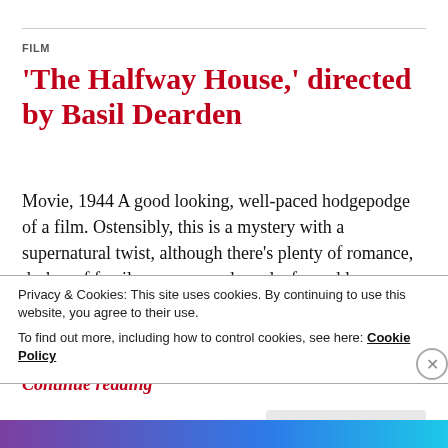FILM
'The Halfway House,' directed by Basil Dearden
Movie, 1944 A good looking, well-paced hodgepodge of a film. Ostensibly, this is a mystery with a supernatural twist, although there's plenty of romance, dashes of family saga, comedy and a few odd scenes, which don't seem to add much to the plot. The film ploughs in a huge chunk of propaganda in at the end, just for good measure. For all this, the positiv… Continue reading
Privacy & Cookies: This site uses cookies. By continuing to use this website, you agree to their use.
To find out more, including how to control cookies, see here: Cookie Policy
Close and accept